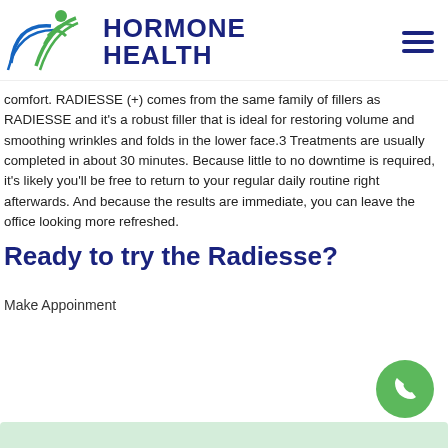HORMONE HEALTH
comfort. RADIESSE (+) comes from the same family of fillers as RADIESSE and it's a robust filler that is ideal for restoring volume and smoothing wrinkles and folds in the lower face.3 Treatments are usually completed in about 30 minutes. Because little to no downtime is required, it's likely you'll be free to return to your regular daily routine right afterwards. And because the results are immediate, you can leave the office looking more refreshed.
Ready to try the Radiesse?
Make Appoinment